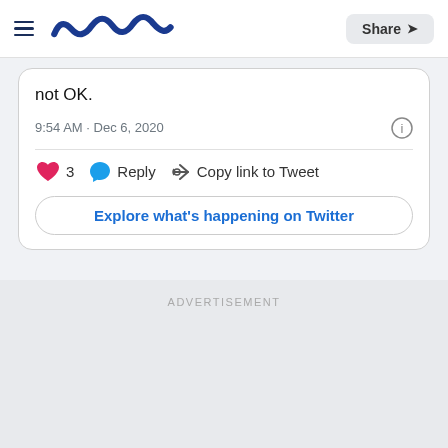Meaww | Share
not OK.
9:54 AM · Dec 6, 2020
3  Reply  Copy link to Tweet
Explore what's happening on Twitter
ADVERTISEMENT